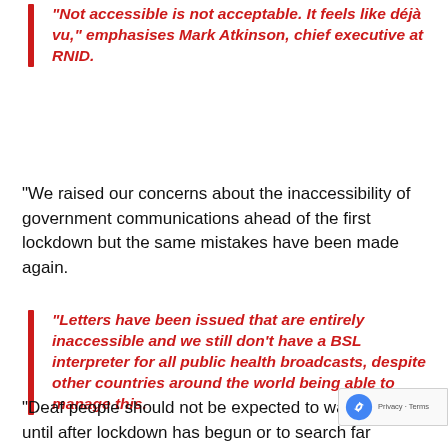“Not accessible is not acceptable. It feels like déjà vu,” emphasises Mark Atkinson, chief executive at RNID.
“We raised our concerns about the inaccessibility of government communications ahead of the first lockdown but the same mistakes have been made again.
“Letters have been issued that are entirely inaccessible and we still don’t have a BSL interpreter for all public health broadcasts, despite other countries around the world being able to manage this.
“Deaf people should not be expected to wait until after lockdown has begun or to search far